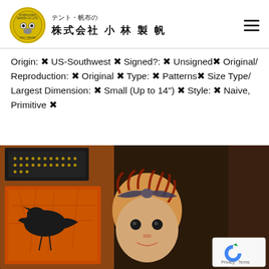テント・帆布の 株式会社 小 林 製 帆
Origin: ✦ US-Southwest ✦ Signed?: ✦ Unsigned✦ Original/ Reproduction: ✦ Original ✦ Type: ✦ Patterns✦ Size Type/ Largest Dimension: ✦ Small (Up to 14") ✦ Style: ✦ Naive, Primitive ✦
[Figure (photo): Close-up photo of a primitive folk art doll with button eyes, red yarn hair, and a dark patterned bow, surrounded by Halloween-themed wooden boxes painted with crows and dotted patterns in orange and black.]